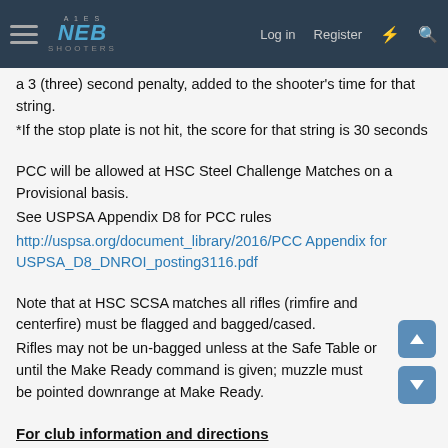NES SHOOTERS — Log in   Register
a 3 (three) second penalty, added to the shooter's time for that string.
*If the stop plate is not hit, the score for that string is 30 seconds
PCC will be allowed at HSC Steel Challenge Matches on a Provisional basis.
See USPSA Appendix D8 for PCC rules
http://uspsa.org/document_library/2016/PCC Appendix for USPSA_D8_DNROI_posting3116.pdf
Note that at HSC SCSA matches all rifles (rimfire and centerfire) must be flagged and bagged/cased.
Rifles may not be un-bagged unless at the Safe Table or until the Make Ready command is given; muzzle must be pointed downrange at Make Ready.
For club information and directions